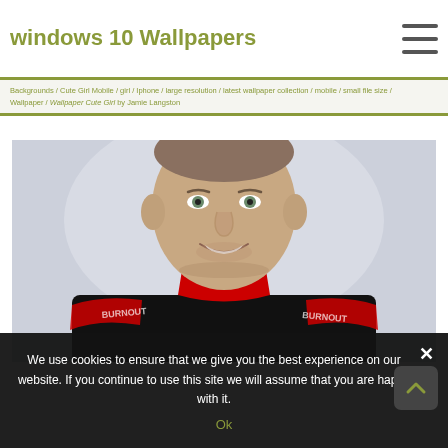windows 10 Wallpapers
Backgrounds / Cute Girl Mobile / girl / Iphone / large resolution / latest wallpaper collection / mobile / small file size / Wallpaper / Wallpaper Cute Girl by Jamie Langston
[Figure (photo): A man smiling, wearing a black racing suit with red trim and sponsor logos, against a light gray background]
We use cookies to ensure that we give you the best experience on our website. If you continue to use this site we will assume that you are happy with it.
Ok